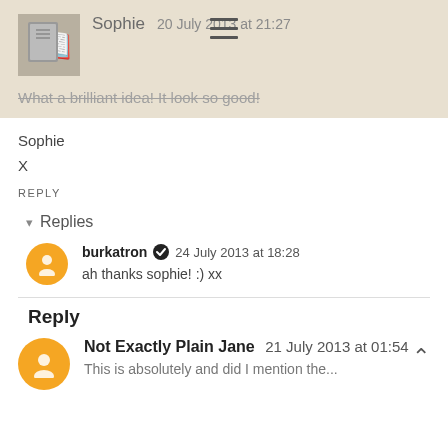[Figure (screenshot): Top banner with user avatar (grey book icon), username 'Sophie', date '20 July 2013 at 21:27', hamburger menu icon, and partially visible struck-through text 'What a brilliant idea! It look so good!']
What a brilliant idea! It look so good!
Sophie
X
REPLY
▾ Replies
burkatron ✔ 24 July 2013 at 18:28
ah thanks sophie! :) xx
Reply
Not Exactly Plain Jane 21 July 2013 at 01:54
This is absolutely and did I mention the...